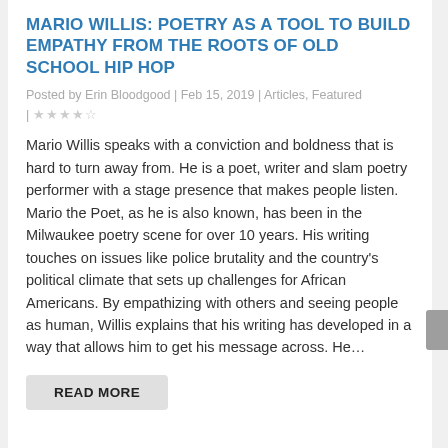MARIO WILLIS: POETRY AS A TOOL TO BUILD EMPATHY FROM THE ROOTS OF OLD SCHOOL HIP HOP
Posted by Erin Bloodgood | Feb 15, 2019 | Articles, Featured | ★★★★☆
Mario Willis speaks with a conviction and boldness that is hard to turn away from. He is a poet, writer and slam poetry performer with a stage presence that makes people listen. Mario the Poet, as he is also known, has been in the Milwaukee poetry scene for over 10 years. His writing touches on issues like police brutality and the country's political climate that sets up challenges for African Americans. By empathizing with others and seeing people as human, Willis explains that his writing has developed in a way that allows him to get his message across. He...
READ MORE